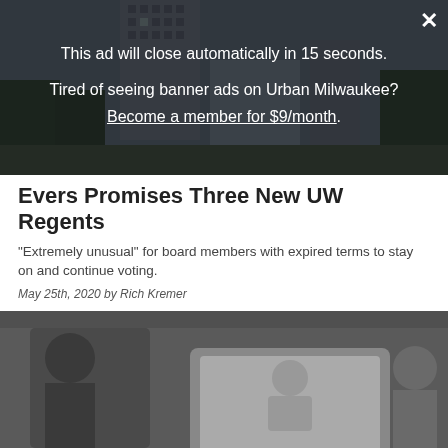[Figure (photo): Urban building/cityscape photo used as article header image, darkened by overlay]
This ad will close automatically in 15 seconds.
Tired of seeing banner ads on Urban Milwaukee?
Become a member for $9/month.
Evers Promises Three New UW Regents
"Extremely unusual" for board members with expired terms to stay on and continue voting.
May 25th, 2020 by Rich Kremer
[Figure (photo): Darkened photo showing people in a meeting or virtual conference setting]